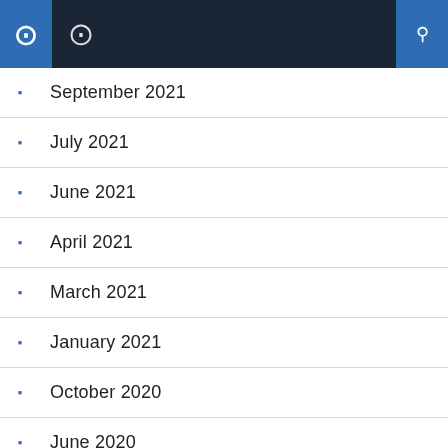Navigation header with menu and search icons
September 2021
July 2021
June 2021
April 2021
March 2021
January 2021
October 2020
June 2020
December 2019
February 2019